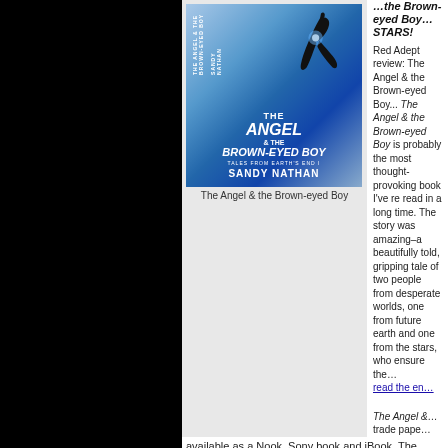[Figure (illustration): Book cover for 'The Angel & the Brown-Eyed Boy' by Sandy Nathan, showing a dancer/figure leaping in a blue sky with clouds, Tales from Earth's End I]
The Angel & the Brown-eyed Boy
Red Adept review: The Angel & the Brown-eyed Boy... The Angel & the Brown-eyed Boy is probably the most thought-provoking book I’ve read in a long time. The story was amazing–a beautifully told, gripping tale of two people from desperate worlds, one from future earth and one from the stars, who ensure the... read the entire review
The Angel & the Brown-Eyed Boy is available as a trade paperback, available as a Nook, Sony book and iBook. The ebooks are only 99 cents
In addition to its terrific Red Adept review, THE ANGEL & THE BROWN-EYED BOY WON TWO NATIONAL AWARDS:
2011 IPPY (Independent Press) AWARDS, Gold Medal Winner in V
3,900 books were entered in this contest.